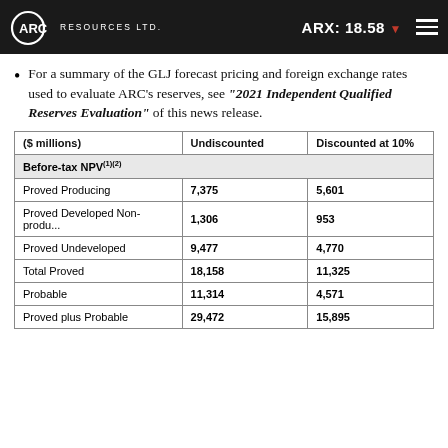ARC Resources Ltd. | ARX: 18.58
For a summary of the GLJ forecast pricing and foreign exchange rates used to evaluate ARC's reserves, see "2021 Independent Qualified Reserves Evaluation" of this news release.
| ($ millions) | Undiscounted | Discounted at 10% |
| --- | --- | --- |
| Before-tax NPV(1)(2) |  |  |
| Proved Producing | 7,375 | 5,601 |
| Proved Developed Non-producing | 1,306 | 953 |
| Proved Undeveloped | 9,477 | 4,770 |
| Total Proved | 18,158 | 11,325 |
| Probable | 11,314 | 4,571 |
| Proved plus Probable | 29,472 | 15,895 |